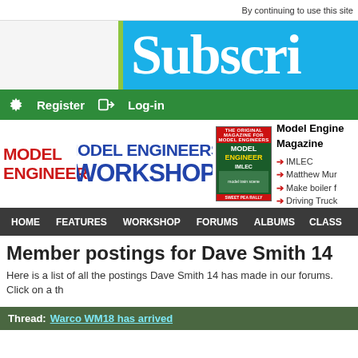By continuing to use this site
[Figure (screenshot): Subscribe banner with blue background and white text reading 'Subscri...' (partially visible), with a green vertical bar on the left]
Register   Log-in
[Figure (logo): MODEL ENGINEER logo in red, MODEL ENGINEERS' WORKSHOP logo in blue/metallic style, Model Engineer magazine cover thumbnail]
Model Engineer Magazine
IMLEC
Matthew Mur...
Make boiler f...
Driving Truck...
HOME   FEATURES   WORKSHOP   FORUMS   ALBUMS   CLASS
Member postings for Dave Smith 14
Here is a list of all the postings Dave Smith 14 has made in our forums. Click on a th
Thread: Warco WM18 has arrived